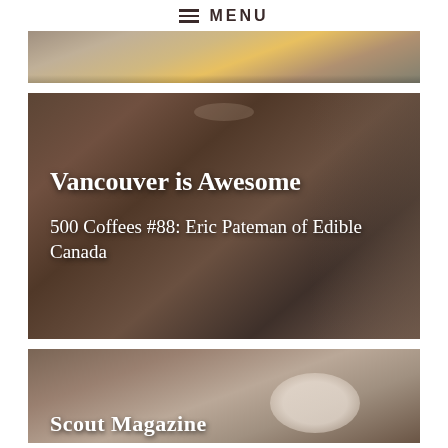MENU
[Figure (photo): Partial photo of people near a campfire, cropped at top]
[Figure (photo): Man sitting at a cafe/restaurant counter with coffee cup, interior with shelves of bottles in background]
Vancouver is Awesome
500 Coffees #88: Eric Pateman of Edible Canada
[Figure (photo): Partial view of a plate of food on a table, cropped at bottom]